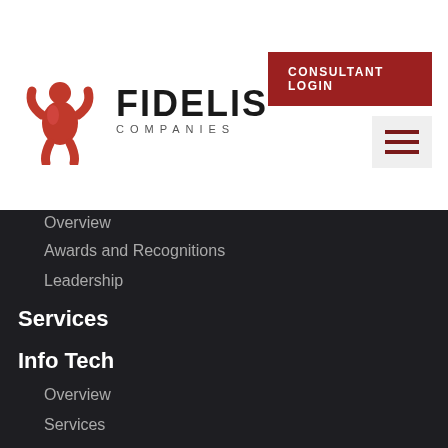[Figure (logo): Fidelis Companies logo with red abstract figure and company name]
CONSULTANT LOGIN
Overview
Awards and Recognitions
Leadership
Services
Info Tech
Overview
Services
Specializations
Candidates
FAQ
Testimonials
BioPharm
Overview